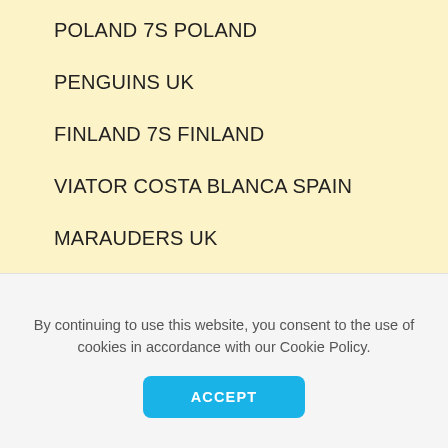POLAND 7S POLAND
PENGUINS UK
FINLAND 7S FINLAND
VIATOR COSTA BLANCA SPAIN
MARAUDERS UK
CHECK REPUBLIC 7S CHECK REPUBLIC
ANDORRA 7S ANDORRA
By continuing to use this website, you consent to the use of cookies in accordance with our Cookie Policy.
ACCEPT